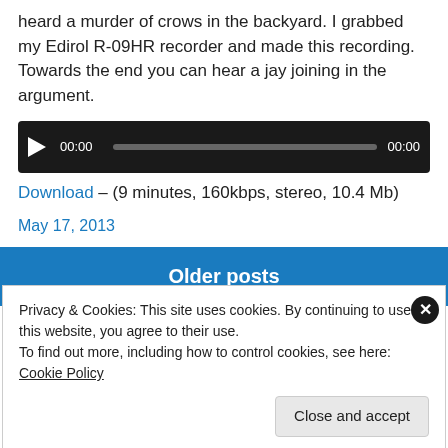heard a murder of crows in the backyard. I grabbed my Edirol R-09HR recorder and made this recording. Towards the end you can hear a jay joining in the argument.
[Figure (other): Audio player UI with play button, progress bar showing 00:00 / 00:00, dark background]
Download – (9 minutes, 160kbps, stereo, 10.4 Mb)
May 17, 2013
Older posts
Privacy & Cookies: This site uses cookies. By continuing to use this website, you agree to their use.
To find out more, including how to control cookies, see here: Cookie Policy
Close and accept